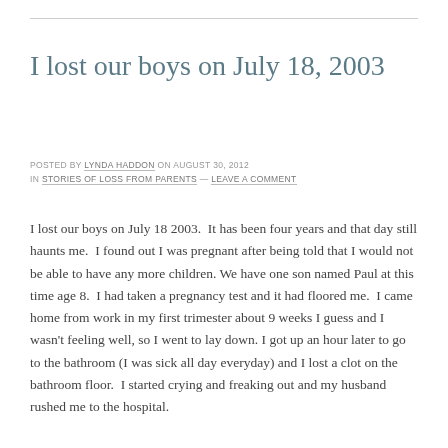I lost our boys on July 18, 2003
POSTED BY LYNDA HADDON ON AUGUST 30, 2012 IN STORIES OF LOSS FROM PARENTS — LEAVE A COMMENT
I lost our boys on July 18 2003.  It has been four years and that day still haunts me.  I found out I was pregnant after being told that I would not be able to have any more children. We have one son named Paul at this time age 8.  I had taken a pregnancy test and it had floored me.  I came home from work in my first trimester about 9 weeks I guess and I wasn't feeling well, so I went to lay down. I got up an hour later to go to the bathroom (I was sick all day everyday) and I lost a clot on the bathroom floor.  I started crying and freaking out and my husband rushed me to the hospital.